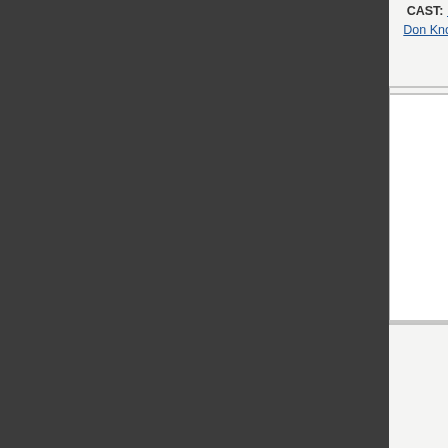CAST: Michael Gordon, Doris Day, James Garner, Polly Bergen, Thelma Ritter, Fred Clark, Don Knotts, Elliott Reid, Edgar Buchanan, John Astin, Pat Harrington Jr., Eddie Quillan, Max Showalter, Alvy Moore, Pami Lee, YEAR: 2006
CAST: J... Traubel, R... George R... Buddy Les... Jack LaL... Syl...
[Figure (photo): Black and white still from The Godless Girl (1929) showing a man in a striped sweater with his hand raised and a woman beside him]
The Godless Girl
CAST: Cecil B. DeMille, Lina Basquette, Marie Prevost, Tom Keene, Noah Beery, Eddie Quillan, Mary Jane Irving, Clarence Burton, Richard Alexander, Kate Price, Hedwiga Reicher, Julia Faye, Viola Louie, YEAR: 1929
CAST: Rog... Armstrong...
[Figure (photo): Movie poster for Night Work featuring Eddie Quillan text and illustrated figures below]